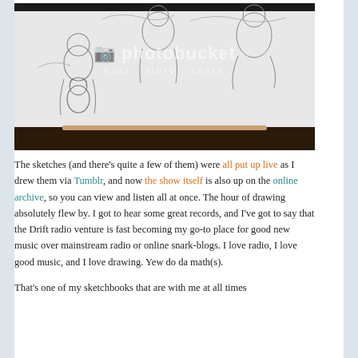[Figure (photo): A photograph of a sketchbook open on a table, showing pencil sketches of people. There is a Photobucket watermark overlay on the image.]
The sketches (and there's quite a few of them) were all put up live as I drew them via Tumblr, and now the show itself is also up on the online archive, so you can view and listen all at once. The hour of drawing absolutely flew by. I got to hear some great records, and I've got to say that the Drift radio venture is fast becoming my go-to place for good new music over mainstream radio or online snark-blogs. I love radio, I love good music, and I love drawing. Yew do da math(s).
That's one of my sketchbooks that are with me at all times